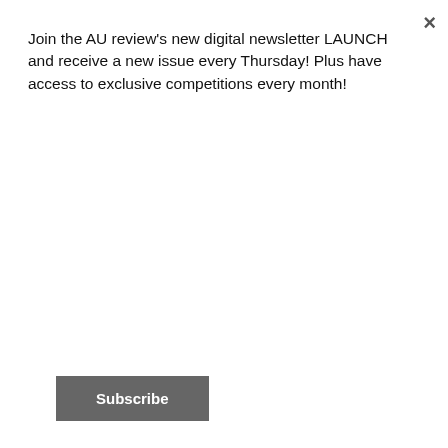Join the AU review's new digital newsletter LAUNCH and receive a new issue every Thursday! Plus have access to exclusive competitions every month!
Subscribe
Review: Flying Canada's budget carrier Flair Airlines – Montreal to Toronto | by Larry Heath | posted on January 20, 2022
Film Review: The Invitation; serviceable enough to accept or best to return to sender? | by Peter Gray | posted on August 26, 2022
Oppo Reno 8 Lite 5G Review: Value for variety | by Hamza Ali | posted on July 6, 2022